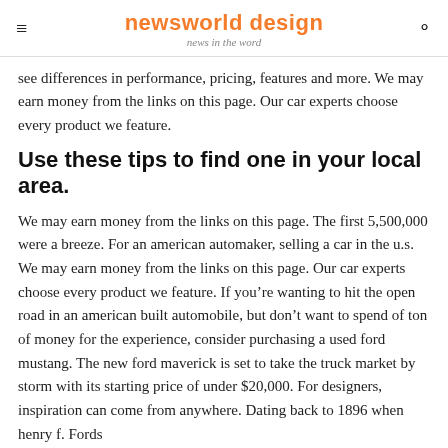newsworld design
news in the word
see differences in performance, pricing, features and more. We may earn money from the links on this page. Our car experts choose every product we feature.
Use these tips to find one in your local area.
We may earn money from the links on this page. The first 5,500,000 were a breeze. For an american automaker, selling a car in the u.s. We may earn money from the links on this page. Our car experts choose every product we feature. If you’re wanting to hit the open road in an american built automobile, but don’t want to spend of ton of money for the experience, consider purchasing a used ford mustang. The new ford maverick is set to take the truck market by storm with its starting price of under $20,000. For designers, inspiration can come from anywhere. Dating back to 1896 when henry f. Fords